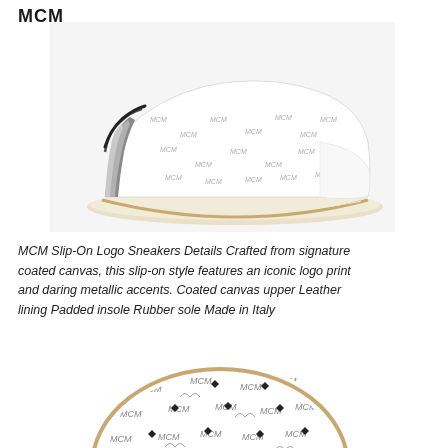MCM
[Figure (photo): MCM slip-on sneaker side view - white coated canvas with MCM logo print pattern, metallic silver/gunmetal heel accent, cream rubber sole, black diamond pattern]
MCM Slip-On Logo Sneakers Details Crafted from signature coated canvas, this slip-on style features an iconic logo print and daring metallic accents. Coated canvas upper Leather lining Padded insole Rubber sole Made in Italy
[Figure (photo): MCM slip-on sneaker top/insole view - white canvas with repeated MCM logo text and black diamond pattern, showing the top-down view of the shoe interior and outsole]